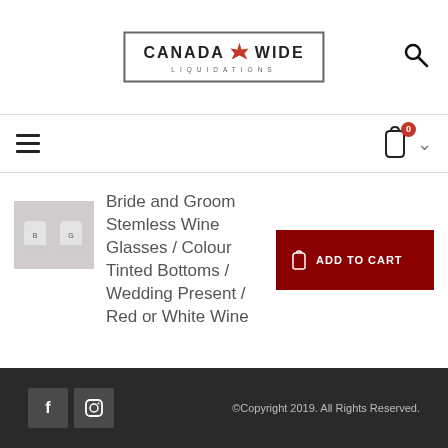[Figure (logo): Canada Wide Liquidations logo with maple leaf graphic inside a rectangular border]
Canada Wide Liquidations - navigation header with search icon, hamburger menu, cart with 0 items
Bride and Groom Stemless Wine Glasses / Colour Tinted Bottoms / Wedding Present / Red or White Wine
[Figure (photo): Small thumbnail image of two stemless wine glasses with tinted bottoms, bride and groom design]
ADD TO CART
©Copyright 2019. All Rights Reserved.